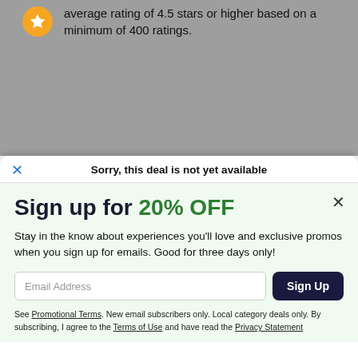average rating of 4.5 stars or higher based on a minimum of 400 ratings.
Sorry, this deal is not yet available
Sign up for 20% OFF
Stay in the know about experiences you'll love and exclusive promos when you sign up for emails. Good for three days only!
Email Address
Sign Up
See Promotional Terms. New email subscribers only. Local category deals only. By subscribing, I agree to the Terms of Use and have read the Privacy Statement